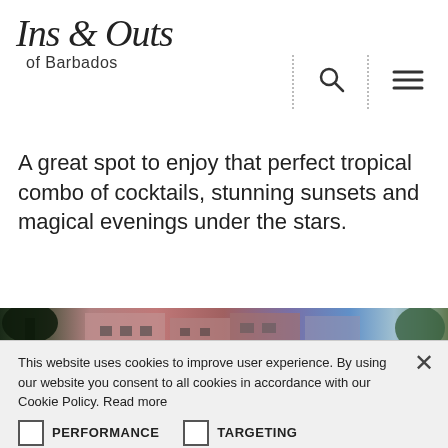Ins & Outs of Barbados
A great spot to enjoy that perfect tropical combo of cocktails, stunning sunsets and magical evenings under the stars.
[Figure (photo): Partial photo of buildings at dusk/twilight in Barbados, showing pink and purple-toned structures with trees and sky]
This website uses cookies to improve user experience. By using our website you consent to all cookies in accordance with our Cookie Policy. Read more
PERFORMANCE   TARGETING
SHOW DETAILS
ACCEPT ALL   DECLINE ALL
POWERED BY COOKIE-SCRIPT